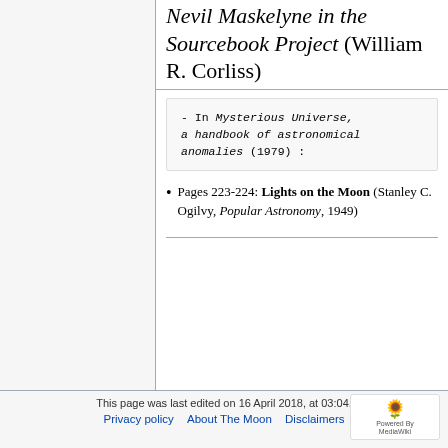Nevil Maskelyne in the Sourcebook Project (William R. Corliss)
- In Mysterious Universe, a handbook of astronomical anomalies (1979) :
Pages 223-224: Lights on the Moon (Stanley C. Ogilvy, Popular Astronomy, 1949)
This page was last edited on 16 April 2018, at 03:04.
Privacy policy  About The Moon  Disclaimers